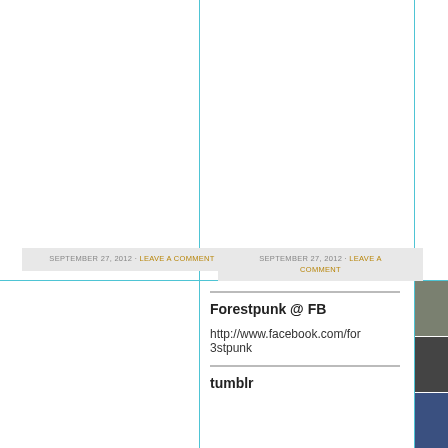SEPTEMBER 27, 2012 - LEAVE A COMMENT
SEPTEMBER 27, 2012 - LEAVE A COMMENT
Forestpunk @ FB
http://www.facebook.com/for3stpunk
tumblr
[Figure (photo): Three small photo thumbnails on the right edge]
[Figure (photo): Middle photo thumbnail - dark circular object]
[Figure (photo): Bottom photo thumbnail - person in blue]